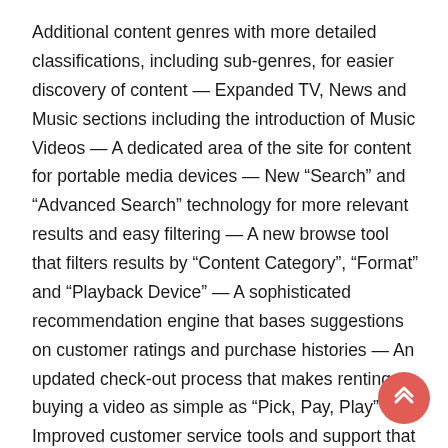Additional content genres with more detailed classifications, including sub-genres, for easier discovery of content — Expanded TV, News and Music sections including the introduction of Music Videos — A dedicated area of the site for content for portable media devices — New “Search” and “Advanced Search” technology for more relevant results and easy filtering — A new browse tool that filters results by “Content Category”, “Format” and “Playback Device” — A sophisticated recommendation engine that bases suggestions on customer ratings and purchase histories — An updated check-out process that makes renting or buying a video as simple as “Pick, Pay, Play” — Improved customer service tools and support that assist customers in maximizing the CinemaNow experience